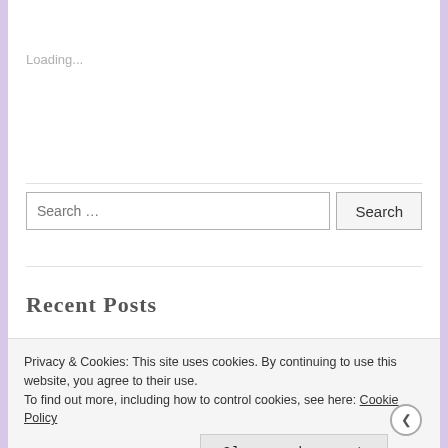Loading...
[Figure (screenshot): Search input field with placeholder text 'Search ...' and a 'Search' button]
Recent Posts
Privacy & Cookies: This site uses cookies. By continuing to use this website, you agree to their use.
To find out more, including how to control cookies, see here: Cookie Policy
Close and accept